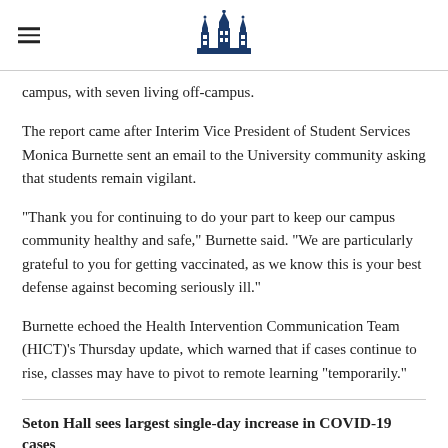[hamburger menu] [university logo]
campus, with seven living off-campus.
The report came after Interim Vice President of Student Services Monica Burnette sent an email to the University community asking that students remain vigilant.
"Thank you for continuing to do your part to keep our campus community healthy and safe," Burnette said. "We are particularly grateful to you for getting vaccinated, as we know this is your best defense against becoming seriously ill."
Burnette echoed the Health Intervention Communication Team (HICT)'s Thursday update, which warned that if cases continue to rise, classes may have to pivot to remote learning "temporarily."
Seton Hall sees largest single-day increase in COVID-19 cases